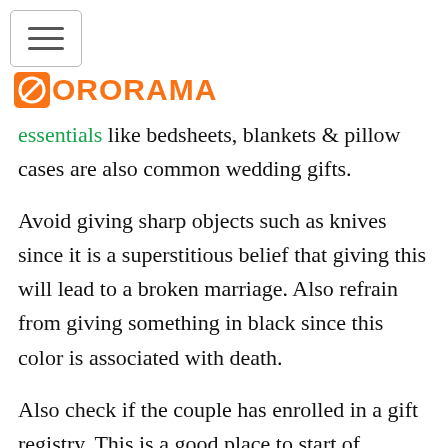ORORAMA
essentials like bedsheets, blankets & pillow cases are also common wedding gifts.
Avoid giving sharp objects such as knives since it is a superstitious belief that giving this will lead to a broken marriage. Also refrain from giving something in black since this color is associated with death.
Also check if the couple has enrolled in a gift registry. This is a good place to start of knowing what the couple wants as gifts.